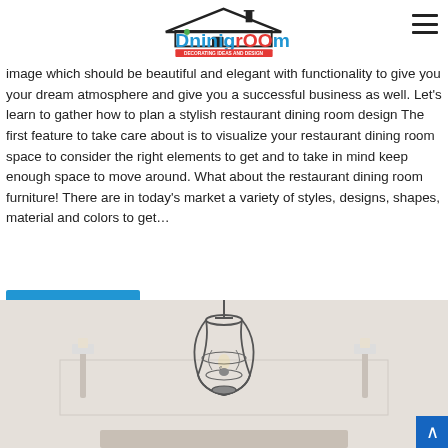Dningroom - Decorating Ideas and Design (logo header with hamburger menu)
perfectly to attract more customers
image which should be beautiful and elegant with functionality to give you your dream atmosphere and give you a successful business as well. Let's learn to gather how to plan a stylish restaurant dining room design The first feature to take care about is to visualize your restaurant dining room space to consider the right elements to get and to take in mind keep enough space to move around. What about the restaurant dining room furniture! There are in today's market a variety of styles, designs, shapes, material and colors to get…
Read More »
[Figure (photo): Interior photo showing an ornate black metal cage-style pendant chandelier above a dining area, with wall sconces on either side, light beige/cream walls and furnishings.]